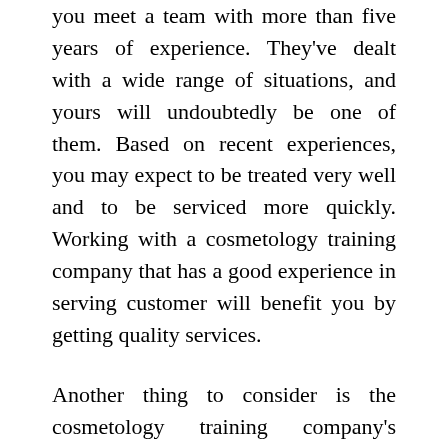you meet a team with more than five years of experience. They've dealt with a wide range of situations, and yours will undoubtedly be one of them. Based on recent experiences, you may expect to be treated very well and to be serviced more quickly. Working with a cosmetology training company that has a good experience in serving customer will benefit you by getting quality services.
Another thing to consider is the cosmetology training company's underlying ideals and principles. This is a sometimes overlooked factor that plays a significant role in determining the ideal cosmetology training company to work with. Take your time reading over the cosmetology training company's missions, vision, and fundamental values. Is integrity one of their basic principles, and does the cosmetology training company have core values, a goal, and a vision? These are some of the characteristics that will help you differentiate legal